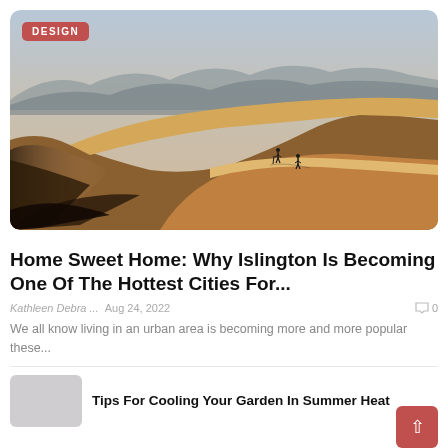[Figure (photo): Aerial view of desert sand dunes with mountains in background and two people hiking up a dune, with a DESIGN badge overlay in the top left]
Home Sweet Home: Why Islington Is Becoming One Of The Hottest Cities For...
Kathleen Debra ...   Aug 24, 2022   0
We all know living in an urban area is becoming more and more popular these...
Tips For Cooling Your Garden In Summer Heat